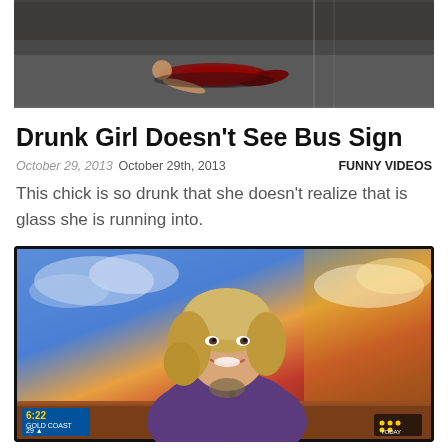[Figure (photo): A person lying on the floor, viewed from above, indoor setting with dim lighting]
Drunk Girl Doesn’t See Bus Sign
October 29, 2013  October 29th, 2013    FUNNY VIDEOS
This chick is so drunk that she doesn’t realize that is glass she is running into.
[Figure (screenshot): A female TV news presenter with blonde hair wearing a purple blazer, on-screen with a colorful sunrise background. Lower-third shows 6:22, GOLD COAST, 29 and Channel 9 TODAY logo.]